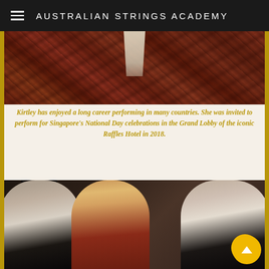AUSTRALIAN STRINGS ACADEMY
[Figure (photo): Top portion of a photo showing an ornate Persian/Oriental rug with red and dark patterns, with what appears to be a white lace or decorative fabric item at the top center]
Kirtley has enjoyed a long career performing in many countries. She was invited to perform for Singapore's National Day celebrations in the Grand Lobby of the iconic Raffles Hotel in 2018.
[Figure (photo): Group photo of three people: on the left a man in formal concert wear with white cravat, in the center a woman with long blonde hair wearing a red outfit, and on the right an older man with grey hair and glasses also in formal concert wear with white cravat. There is a gold circular scroll-to-top button overlaid on the right side of the image.]